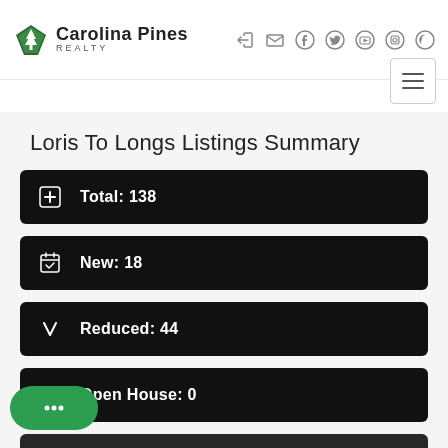[Figure (logo): Carolina Pines Realty logo with South Carolina state silhouette and pine tree]
Social media and navigation icons: login, email, Facebook, Twitter, YouTube, Instagram, Pinterest; hamburger menu button
Loris To Longs Listings Summary
Total: 138
New: 18
Reduced: 44
Open House: 0
[Figure (other): Chat button (speech bubble with ellipsis on green rounded pill)]